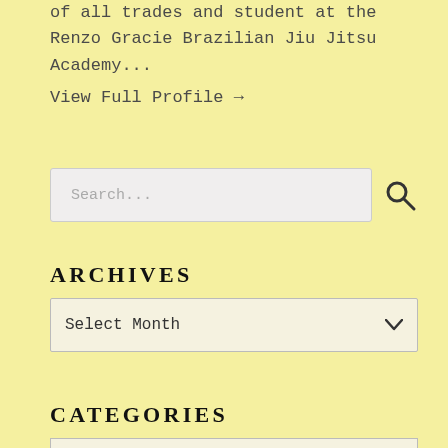of all trades and student at the Renzo Gracie Brazilian Jiu Jitsu Academy...
View Full Profile →
[Figure (other): Search input box with search icon]
ARCHIVES
[Figure (other): Select Month dropdown]
CATEGORIES